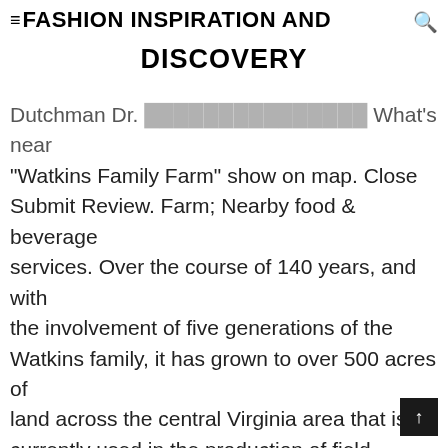≡FASHION INSPIRATION AND DISCOVERY
Dutchman Dr. This video is What's near "Watkins Family Farm" show on map. Close Submit Review. Farm; Nearby food & beverage services. Over the course of 140 years, and with the involvement of five generations of the Watkins family, it has grown to over 500 acres of land across the central Virginia area that is currently used in the production of field-grown, landscape-size plant material. We spent $20 to hire a bucket to pick sour and small mandarins. This video is unavailable. THESE PIGS ARE GROWN ON 16% HOG GROWER AND